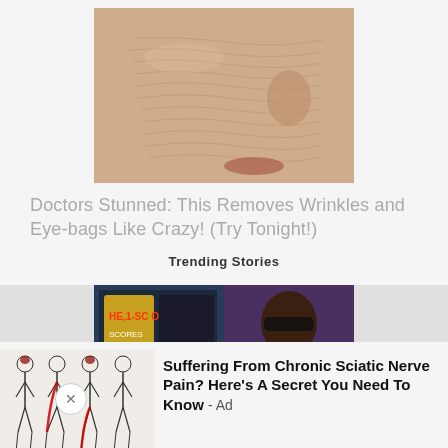[Figure (photo): Close-up photo of a person's face with wrinkled/textured skin, pinkish-beige tones suggesting a face mask treatment]
Doctors Stunned: This Removes Wrinkles and Eye-bags Like Crazy! (Try Tonight!)
Trending Stories
[Figure (photo): Screenshot-style image showing a slot machine display on the left and a man with sunglasses on the right in a casino setting]
[Figure (illustration): Medical illustration showing human body outlines with red highlighted areas indicating sciatic nerve pain locations]
Suffering From Chronic Sciatic Nerve Pain? Here's A Secret You Need To Know - Ad